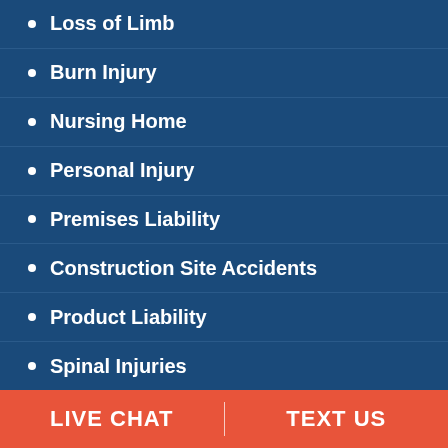Loss of Limb
Burn Injury
Nursing Home
Personal Injury
Premises Liability
Construction Site Accidents
Product Liability
Spinal Injuries
LIVE CHAT  TEXT US